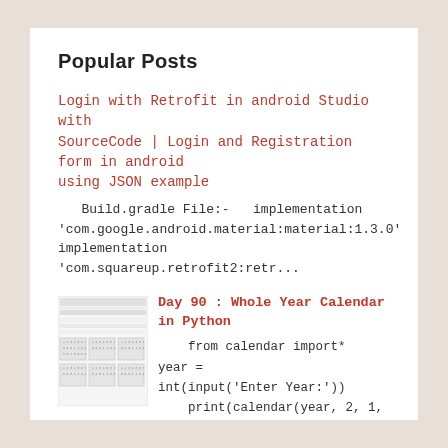Popular Posts
Login with Retrofit in android Studio with SourceCode | Login and Registration form in android using JSON example
Build.gradle File:-   implementation 'com.google.android.material:material:1.3.0' implementation 'com.squareup.retrofit2:retr...
[Figure (screenshot): Thumbnail of a calendar in Python output]
Day 90 : Whole Year Calendar in Python
from calendar import*  year = int(input('Enter Year:'))  print(calendar(year, 2, 1, 8, 4))  #2 = 2 characters for days (Mo,Tu, etc...